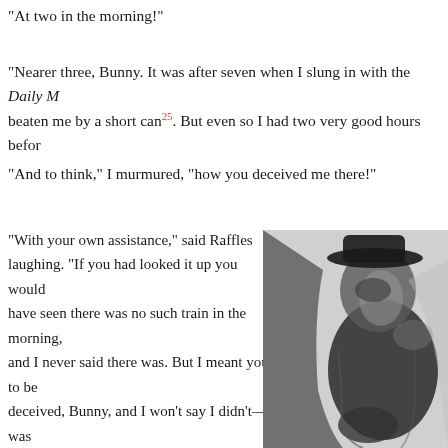“At two in the morning!”
“Nearer three, Bunny. It was after seven when I slung in with the Daily M beaten me by a short can²⁵. But even so I had two very good hours befor
“And to think,” I murmured, “how you deceived me there!”
“With your own assistance,” said Raffles laughing. “If you had looked it up you would have seen there was no such train in the morning, and I never said there was. But I meant you to be deceived, Bunny, and I won’t say I didn’t—it was all for the sake of the side! Well, when you carted me away with such laudable despatch, I had rather an uncomfortable half-hour, but that was all just then. I had my candle, I had matches, and lots to read. It was quite nice in that strong-room until a very unpleasant incident occurred.”
[Figure (illustration): A black and white illustration of a figure wearing a hat and holding something, rendered in a sketchy, dramatic style]